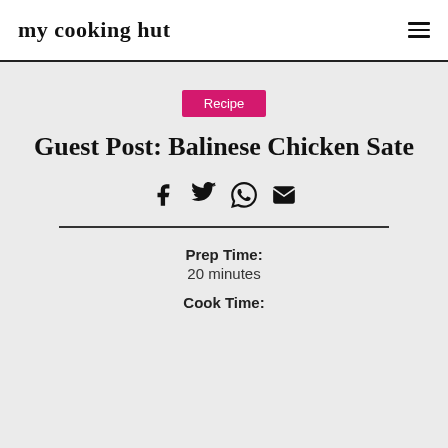my cooking hut
Recipe
Guest Post: Balinese Chicken Sate
[Figure (infographic): Social share icons: Facebook, Twitter, WhatsApp, Email]
Prep Time:
20 minutes
Cook Time: